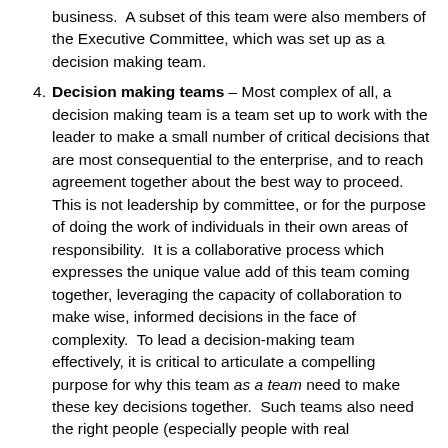business.  A subset of this team were also members of the Executive Committee, which was set up as a decision making team.
Decision making teams – Most complex of all, a decision making team is a team set up to work with the leader to make a small number of critical decisions that are most consequential to the enterprise, and to reach agreement together about the best way to proceed.  This is not leadership by committee, or for the purpose of doing the work of individuals in their own areas of responsibility.  It is a collaborative process which expresses the unique value add of this team coming together, leveraging the capacity of collaboration to make wise, informed decisions in the face of complexity.  To lead a decision-making team effectively, it is critical to articulate a compelling purpose for why this team as a team need to make these key decisions together.  Such teams also need the right people (especially people with real